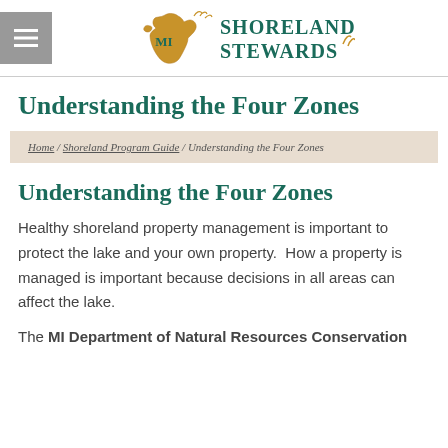[Figure (logo): MI Shoreland Stewards logo with Michigan mitten shape in gold and teal text reading SHORELAND STEWARDS]
Understanding the Four Zones
Home / Shoreland Program Guide / Understanding the Four Zones
Understanding the Four Zones
Healthy shoreland property management is important to protect the lake and your own property.  How a property is managed is important because decisions in all areas can affect the lake.
The MI Department of Natural Resources Conservation